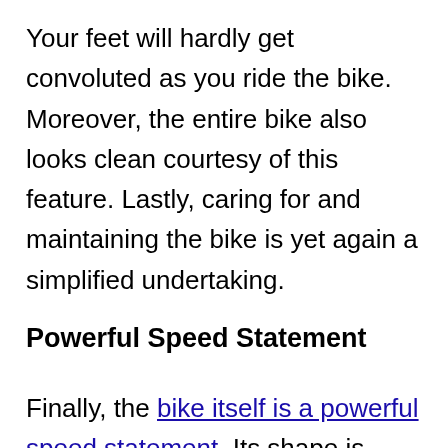Your feet will hardly get convoluted as you ride the bike. Moreover, the entire bike also looks clean courtesy of this feature. Lastly, caring for and maintaining the bike is yet again a simplified undertaking.
Powerful Speed Statement
Finally, the bike itself is a powerful speed statement. Its shape is aerodynamic, which means that it parts the oncoming wind fairly easily. The lightweight, on the other hand, makes for smoother maneuverability when taking on difficult terrains.